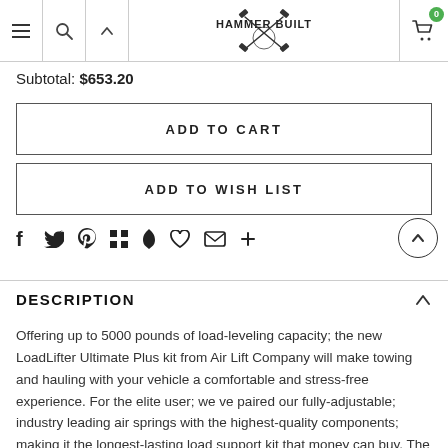Hammer Built — navigation header with logo and cart
Subtotal: $653.20
ADD TO CART
ADD TO WISH LIST
DESCRIPTION
Offering up to 5000 pounds of load-leveling capacity; the new LoadLifter Ultimate Plus kit from Air Lift Company will make towing and hauling with your vehicle a comfortable and stress-free experience. For the elite user; we ve paired our fully-adjustable; industry leading air springs with the highest-quality components; making it the longest-lasting load support kit that money can buy. The new LoadLifter 5000 Ultimate Plus kit helps to eliminate